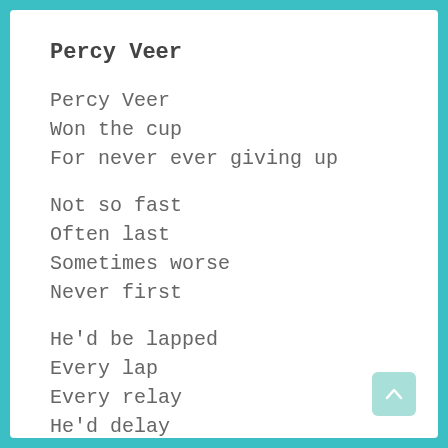Percy Veer
Percy Veer
Won the cup
For never ever giving up
Not so fast
Often last
Sometimes worse
Never first
He'd be lapped
Every lap
Every relay
He'd delay